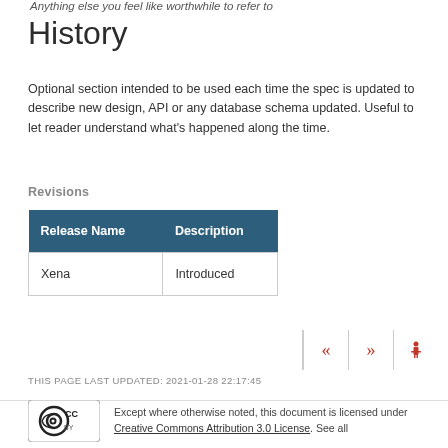Anything else you feel like worthwhile to refer to
History
Optional section intended to be used each time the spec is updated to describe new design, API or any database schema updated. Useful to let reader understand what's happened along the time.
Revisions
| Release Name | Description |
| --- | --- |
| Xena | Introduced |
THIS PAGE LAST UPDATED: 2021-01-28 22:17:45
Except where otherwise noted, this document is licensed under Creative Commons Attribution 3.0 License. See all